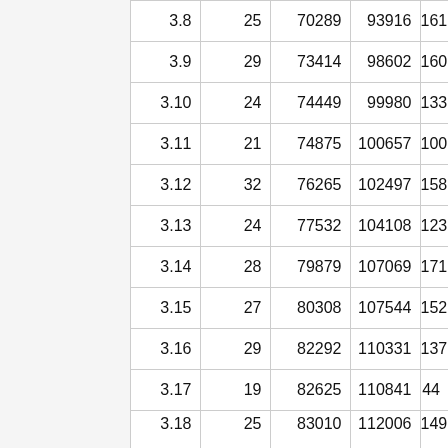|  | col1 | col2 | col3 | col4 | col5 |
| --- | --- | --- | --- | --- | --- |
| 3.8 | 25 | 70289 | 93916 | 161 |  |
| 3.9 | 29 | 73414 | 98602 | 160 |  |
| 3.10 | 24 | 74449 | 99980 | 133 |  |
| 3.11 | 21 | 74875 | 100657 | 100 |  |
| 3.12 | 32 | 76265 | 102497 | 158 |  |
| 3.13 | 24 | 77532 | 104108 | 123 |  |
| 3.14 | 28 | 79879 | 107069 | 171 |  |
| 3.15 | 27 | 80308 | 107544 | 152 |  |
| 3.16 | 29 | 82292 | 110331 | 137 |  |
| 3.17 | 19 | 82625 | 110841 | 44 |  |
| 3.18 | 25 | 83010 | 112006 | 149 |  |